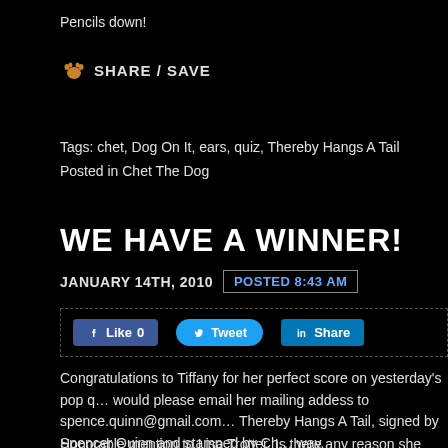Pencils down!
[Figure (infographic): Share/Save button with paw print icon]
Tags: chet, Dog On It, ears, quiz, Thereby Hangs A Tail
Posted in Chet The Dog
WE HAVE A WINNER!
JANUARY 14TH, 2010   POSTED 8:43 AM
[Figure (infographic): Social sharing buttons: Like 0 (Facebook), Tweet (Twitter), Share (LinkedIn)]
Congratulations to Tiffany for her perfect score on yesterday's pop q... would please email her mailing addess to spence.quinn@gmail.com... Thereby Hangs A Tail, signed by Spencer Quinn and stamped by Ch... way.
Honorable mention to Lisa Trotter. Is there any reason she shouldn't... Not that Chet can come up with. So if she too will kindly do the emai... and stamped copy will be coming her way as well.